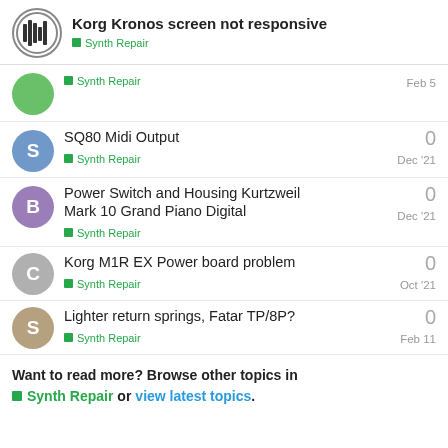Korg Kronos screen not responsive — Synth Repair
Synth Repair | Feb 5 | replies: (truncated)
SQ80 Midi Output | Synth Repair | Dec '21 | 0
Power Switch and Housing Kurtzweil Mark 10 Grand Piano Digital | Synth Repair | Dec '21 | 0
Korg M1R EX Power board problem | Synth Repair | Oct '21 | 0
Lighter return springs, Fatar TP/8P? | Synth Repair | Feb 11 | 0
Want to read more? Browse other topics in Synth Repair or view latest topics.